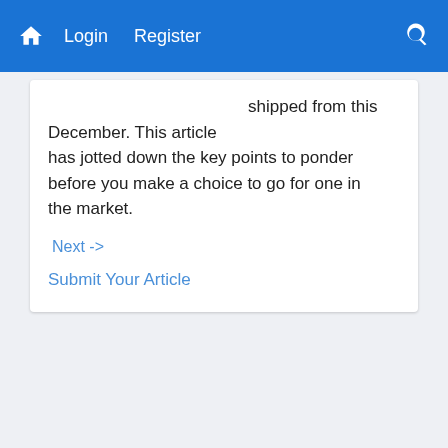Home  Login  Register  [search icon]
shipped from this December. This article has jotted down the key points to ponder before you make a choice to go for one in the market.
Next ->
Submit Your Article